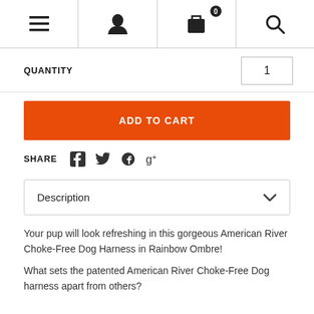Navigation bar with menu, user, cart (0), and search icons
QUANTITY   1
ADD TO CART
SHARE
Description
Your pup will look refreshing in this gorgeous American River Choke-Free Dog Harness in Rainbow Ombre!
What sets the patented American River Choke-Free Dog harness apart from others?